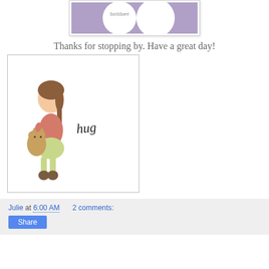[Figure (illustration): Partially visible purple/lavender stamp product image with circular design and text 'Scri10orn!' at top of page]
Thanks for stopping by. Have a great day!
[Figure (illustration): A greeting card image showing a cartoon girl with brown hair holding a cat/teddy bear, with cursive text 'hug' beside her, on a white background with thin border]
Julie at 6:00 AM    2 comments:
Share